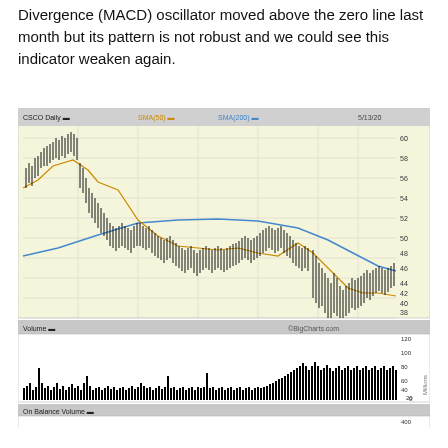Divergence (MACD) oscillator moved above the zero line last month but its pattern is not robust and we could see this indicator weaken again.
[Figure (continuous-plot): CSCO Daily stock chart with SMA(50) in orange and SMA(200) in blue, showing price from ~60 down to ~32. Below is a Volume bar chart and an On Balance Volume line chart. Chart sourced from BigCharts.com dated 5/13/20.]